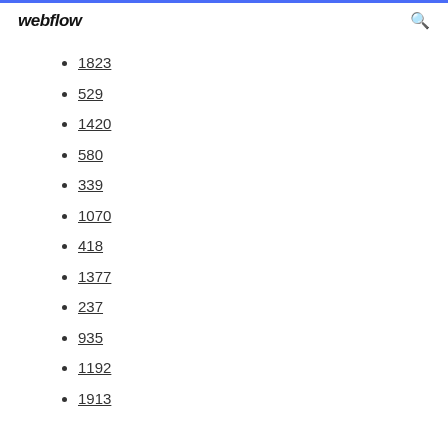webflow
1823
529
1420
580
339
1070
418
1377
237
935
1192
1913